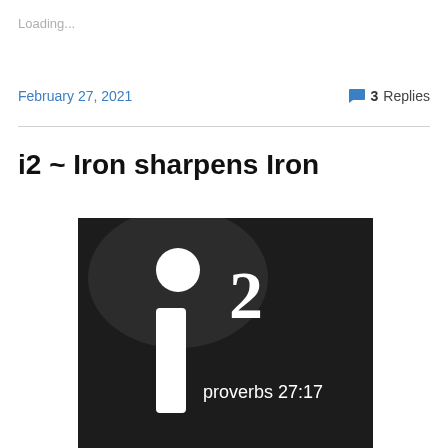Loading...
February 27, 2021
3 Replies
i2 ~ Iron sharpens Iron
[Figure (photo): Dark background logo with 'i2' text and 'proverbs 27:17' written in white serif font]